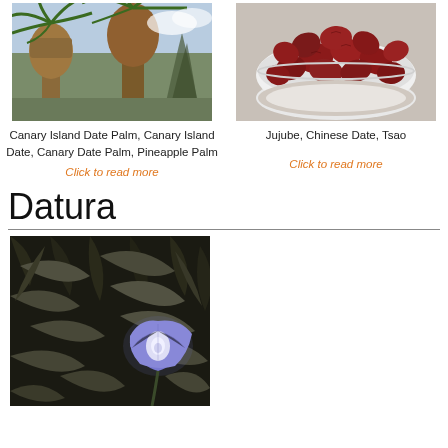[Figure (photo): Canary Island Date Palm tree with large round seed heads against a sky background]
Canary Island Date Palm, Canary Island Date, Canary Date Palm, Pineapple Palm
Click to read more
[Figure (photo): Bowl of dried red jujube fruits (Chinese dates) in a white ceramic bowl]
Jujube, Chinese Date, Tsao
Click to read more
Datura
[Figure (photo): Datura plant with dark green-grey leaves and a purple/blue trumpet-shaped flower]